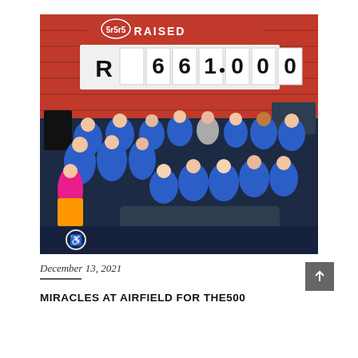[Figure (photo): Group photo of people wearing blue t-shirts in front of a red background showing 'R 661 000 RAISED'. A large scoreboard display shows the fundraising total.]
December 13, 2021
MIRACLES AT AIRFIELD FOR THE500